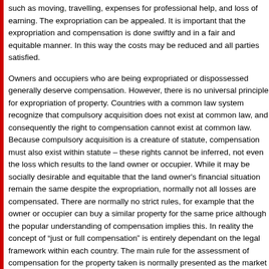such as moving, travelling, expenses for professional help, and loss of earning. The expropriation can be appealed. It is important that the expropriation and compensation is done swiftly and in a fair and equitable manner. In this way the costs may be reduced and all parties satisfied.
Owners and occupiers who are being expropriated or dispossessed generally deserve compensation. However, there is no universal principle for expropriation of property. Countries with a common law system recognize that compulsory acquisition does not exist at common law, and consequently the right to compensation cannot exist at common law. Because compulsory acquisition is a creature of statute, compensation must also exist within statute – these rights cannot be inferred, not even the loss which results to the land owner or occupier. While it may be socially desirable and equitable that the land owner's financial situation remain the same despite the expropriation, normally not all losses are compensated. There are normally no strict rules, for example that the owner or occupier can buy a similar property for the same price although the popular understanding of compensation implies this. In reality the concept of "just or full compensation" is entirely dependant on the legal framework within each country. The main rule for the assessment of compensation for the property taken is normally presented as the market value of the land acquired, which normally means a market value based on comparable real property transactions. However, this can be defined in a way that does not allow the owner using the compensation to purchase a comparable property in the same area. Any increase in development value created by the acquiring authority (and which is recognized in many countries) is excluded from calculations of the amount of compensation payable.